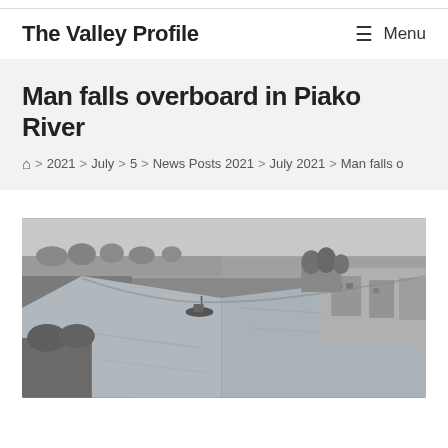The Valley Profile
Man falls overboard in Piako River
🏠 > 2021 > July > 5 > News Posts 2021 > July 2021 > Man falls o
[Figure (photo): Black and white aerial photograph of the Piako River showing a canal-like waterway with buildings on the right bank and trees and flat farmland surrounding it. A small vessel appears on the water.]